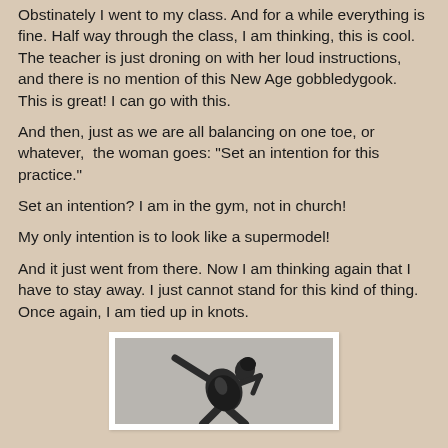Obstinately I went to my class. And for a while everything is fine. Half way through the class, I am thinking, this is cool. The teacher is just droning on with her loud instructions, and there is no mention of this New Age gobbledygook. This is great! I can go with this.
And then, just as we are all balancing on one toe, or whatever, the woman goes: "Set an intention for this practice."
Set an intention? I am in the gym, not in church!
My only intention is to look like a supermodel!
And it just went from there. Now I am thinking again that I have to stay away. I just cannot stand for this kind of thing. Once again, I am tied up in knots.
[Figure (photo): Black and white photograph of a person in a yoga or dance pose, wearing dark clothing, stretching sideways with arms extended]